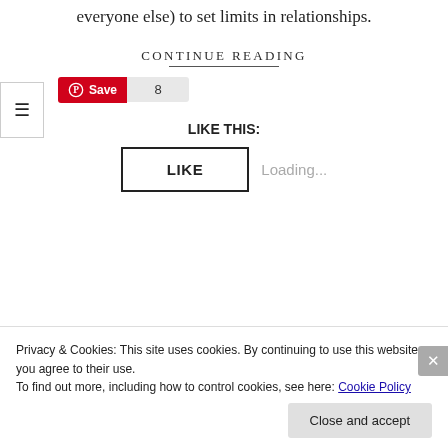everyone else) to set limits in relationships.
CONTINUE READING
Save 8
LIKE THIS:
LIKE Loading...
Privacy & Cookies: This site uses cookies. By continuing to use this website, you agree to their use.
To find out more, including how to control cookies, see here: Cookie Policy
Close and accept